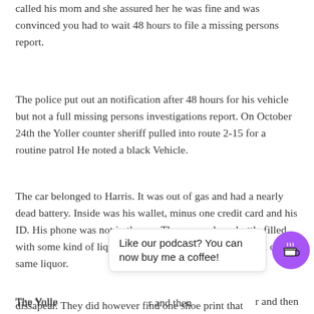called his mom and she assured her he was fine and was convinced you had to wait 48 hours to file a missing persons report.
The police put out an notification after 48 hours for his vehicle but not a full missing persons investigations report. On October 24th the Yoller counter sheriff pulled into route 2-15 for a routine patrol He noted a black Vehicle.
The car belonged to Harris. It was out of gas and had a nearly dead battery. Inside was his wallet, minus one credit card and his ID. His phone was not in the car. There was also a bottle filled with some kind of liquor and an empty bottle that smelled of the same liquor.
The Yoller … and then started a s… ea a… n the exper… f equipmen… 0lb m… dissapear. They did however find one shoe print that
Like our podcast? You can now buy me a coffee!